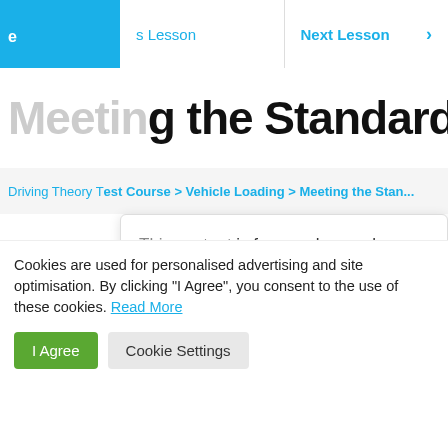[Figure (screenshot): Blue navigation bar on the left top]
s Lesson   Next Lesson >
Meeting the Standards
Driving Theory Test Course > Vehicle Loading > Meeting the Stan...
This content is for members only.
Log In   Sign Up
Cookies are used for personalised advertising and site optimisation. By clicking "I Agree", you consent to the use of these cookies. Read More
I Agree   Cookie Settings